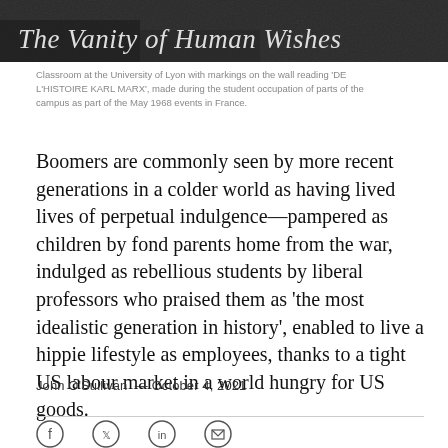[Figure (photo): Dark photograph (classroom/crowd scene) used as hero image background with italic title text overlay reading 'The Vanity of Human Wishes']
Classroom at the University of Lyon with markings on the wall reading 'DE L'HISTOIRE KARL MARX', made during the student occupation of parts of the campus as part of the May 1968 events in France.
Boomers are commonly seen by more recent generations in a colder world as having lived lives of perpetual indulgence—pampered as children by fond parents home from the war, indulged as rebellious students by liberal professors who praised them as 'the most idealistic generation in history', enabled to live a hippie lifestyle as employees, thanks to a tight US labour market in a world hungry for US goods.
John O'Sullivan  —  October 4, 2021